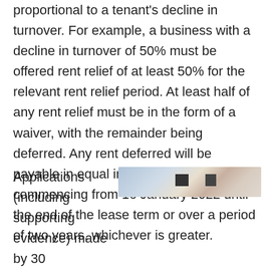proportional to a tenant's decline in turnover. For example, a business with a decline in turnover of 50% must be offered rent relief of at least 50% for the relevant rent relief period. At least half of any rent relief must be in the form of a waiver, with the remainder being deferred. Any rent deferred will be payable in equal instalments commencing from 16 January 2022 until the end of the lease term or over a period of two years, whichever is greater.
[Figure (photo): A partially redacted or blurred photograph, likely showing currency or financial documents.]
Applications (including supporting evidence) made by 30